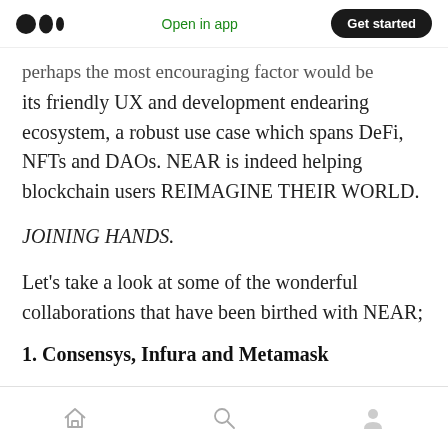Open in app | Get started
perhaps the most encouraging factor would be its friendly UX and development endearing ecosystem, a robust use case which spans DeFi, NFTs and DAOs. NEAR is indeed helping blockchain users REIMAGINE THEIR WORLD.
JOINING HANDS.
Let's take a look at some of the wonderful collaborations that have been birthed with NEAR;
1. Consensys, Infura and Metamask
Home | Search | Profile